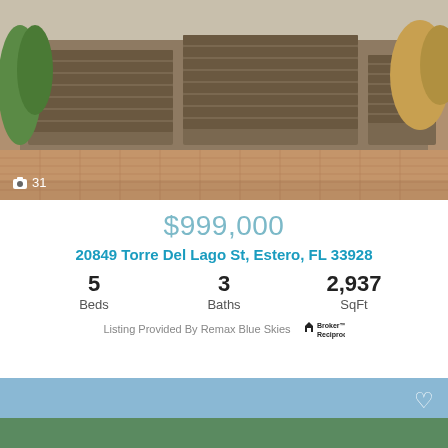[Figure (photo): Front view of a house with large garage doors and brick paver driveway]
📷 31
$999,000
20849 Torre Del Lago St, Estero, FL 33928
5 Beds   3 Baths   2,937 SqFt
Listing Provided By Remax Blue Skies  [Broker Reciprocity]
[Figure (photo): Aerial view of house with yellow arrow pointer, surrounded by trees and green landscape]
📷 35